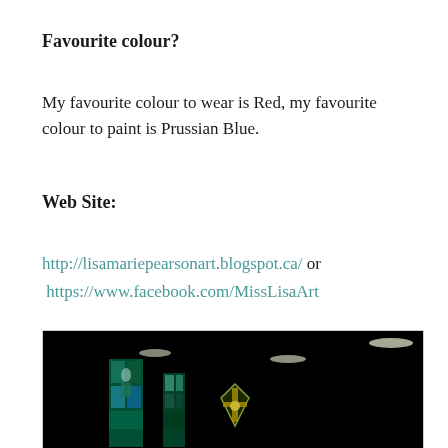Favourite colour?
My favourite colour to wear is Red, my favourite colour to paint is Prussian Blue.
Web Site:
http://lisamariepearsonart.blogspot.ca/ or https://www.facebook.com/MissLisaArt
[Figure (photo): A dark nighttime photograph showing illuminated stained glass church windows with colourful geometric and figurative designs against a black background, with light streaks visible in the upper portion.]